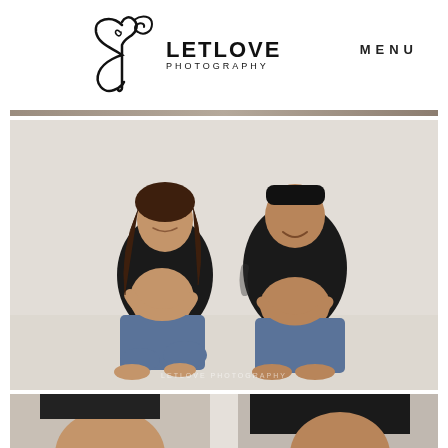[Figure (logo): LetLove Photography logo with decorative cursive L forming a heart shape, followed by bold text LETLOVE PHOTOGRAPHY]
MENU
[Figure (photo): A pregnant woman and a man sitting side by side against a white wall on a light wood floor. Both are wearing black tops and jeans, barefoot, and holding their bellies, smiling at each other. The man has tattoos visible. A watermark reads LETLOVE PHOTOGRAPHY.]
[Figure (photo): Close-up partial photo showing the midsections of a pregnant woman on the left and a man on the right, both wearing dark clothing, cut off at the bottom of the page.]